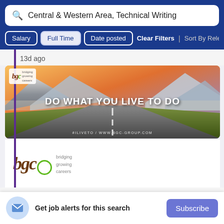Central & Western Area, Technical Writing
Salary | Full Time | Date posted | Clear Filters | Sort By Rele
13d ago
[Figure (illustration): BGC Group advertisement banner showing a road leading into the distance with mountains and sunset sky. Text reads 'DO WHAT YOU LIVE TO DO' with '#ILIVETO / WWW.BGC-GROUP.COM' below.]
[Figure (logo): BGC Group logo with text 'bgc' in brown italic letters, a green circle, and 'bridging growing careers' tagline.]
Get job alerts for this search
Subscribe